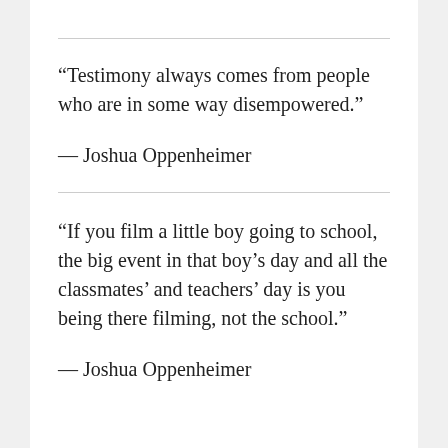“Testimony always comes from people who are in some way disempowered.”
— Joshua Oppenheimer
“If you film a little boy going to school, the big event in that boy’s day and all the classmates’ and teachers’ day is you being there filming, not the school.”
— Joshua Oppenheimer